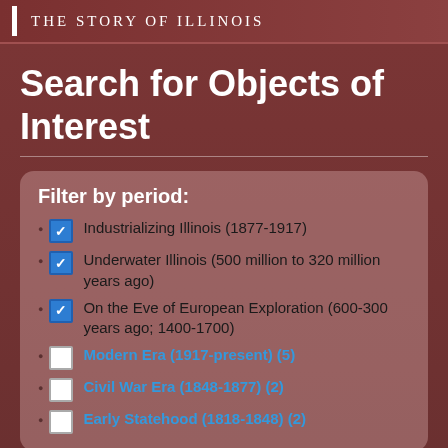The Story of Illinois
Search for Objects of Interest
Filter by period:
Industrializing Illinois (1877-1917)
Underwater Illinois (500 million to 320 million years ago)
On the Eve of European Exploration (600-300 years ago; 1400-1700)
Modern Era (1917-present) (5)
Civil War Era (1848-1877) (2)
Early Statehood (1818-1848) (2)